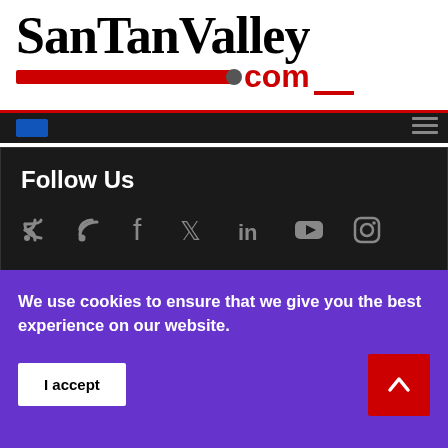[Figure (logo): SanTanValley.com logo with bold black serif text 'SanTanValley' and red '.com' with red horizontal bar underline]
Follow Us
[Figure (infographic): Row of social media icons: RSS feed, Facebook, Twitter, LinkedIn, YouTube, Instagram in grey on dark background]
We use cookies to ensure that we give you the best experience on our website.
I accept